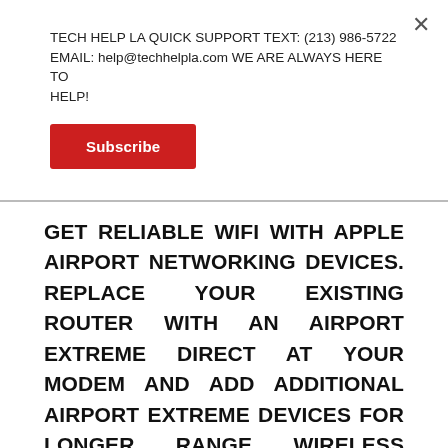TECH HELP LA QUICK SUPPORT TEXT: (213) 986-5722 EMAIL: help@techhelpla.com WE ARE ALWAYS HERE TO HELP!
Subscribe
GET RELIABLE WIFI WITH APPLE AIRPORT NETWORKING DEVICES. REPLACE YOUR EXISTING ROUTER WITH AN AIRPORT EXTREME DIRECT AT YOUR MODEM AND ADD ADDITIONAL AIRPORT EXTREME DEVICES FOR LONGER RANGE WIRELESS ACCESS THROUGHOUT AREAS OF YOUR HOME OR BUSINESS FOR ACCESS TO THE INTERNET AND YOUR PRIVATE NETWORK AND OTHER